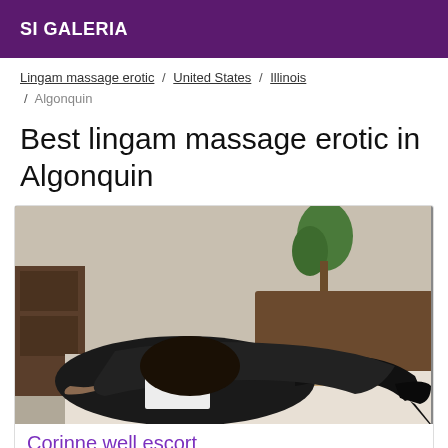SI GALERIA
Lingam massage erotic / United States / Illinois / Algonquin
Best lingam massage erotic in Algonquin
[Figure (photo): A person posing on a bed wearing black lingerie and stockings, face blurred with a white block.]
Corinne well escort
Ebony escorts Algonquin